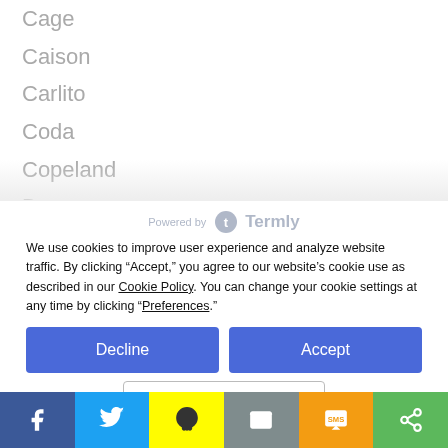Cage
Caison
Carlito
Coda
Copeland
Daemon
Dayson
Ekam
Elie
Emerick
[Figure (logo): Powered by Termly logo]
We use cookies to improve user experience and analyze website traffic. By clicking “Accept,” you agree to our website’s cookie use as described in our Cookie Policy. You can change your cookie settings at any time by clicking “Preferences.”
Decline
Accept
Preferences